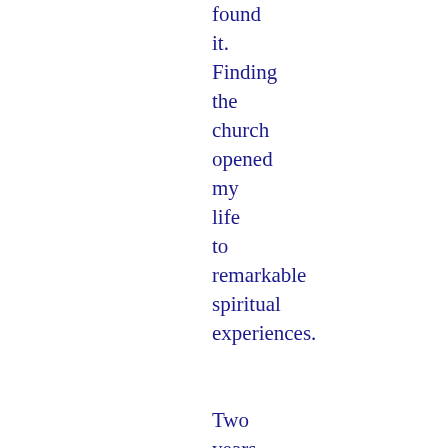found it. Finding the church opened my life to remarkable spiritual experiences.

Two years after joining the church, I met my husband-to-